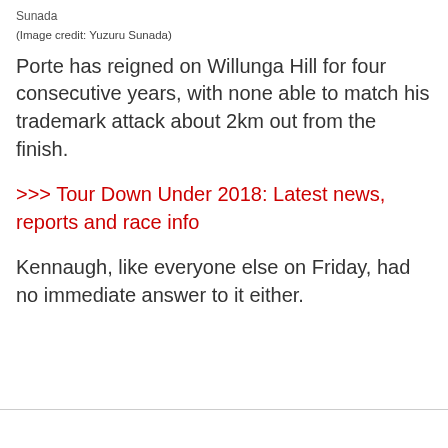Sunada
(Image credit: Yuzuru Sunada)
Porte has reigned on Willunga Hill for four consecutive years, with none able to match his trademark attack about 2km out from the finish.
>>> Tour Down Under 2018: Latest news, reports and race info
Kennaugh, like everyone else on Friday, had no immediate answer to it either.